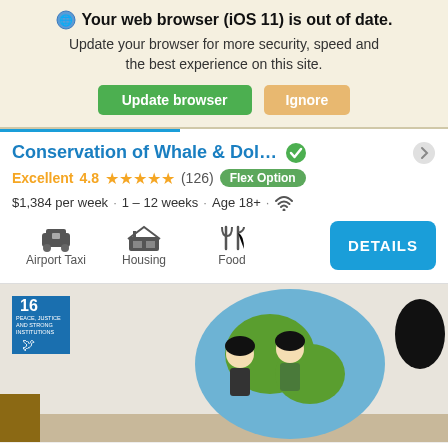Your web browser (iOS 11) is out of date. Update your browser for more security, speed and the best experience on this site.
Update browser | Ignore
Conservation of Whale & Dol...
Excellent 4.8 ★★★★★ (126) Flex Option
$1,384 per week · 1 – 12 weeks · Age 18+ · WiFi
Airport Taxi   Housing   Food   DETAILS
[Figure (photo): Photo of a classroom or community room with an artistic globe mural featuring illustrated children, and an SDG 16 poster on the wall.]
APPLY NOW   from $1,129   4.6 ★★★★★ (38)